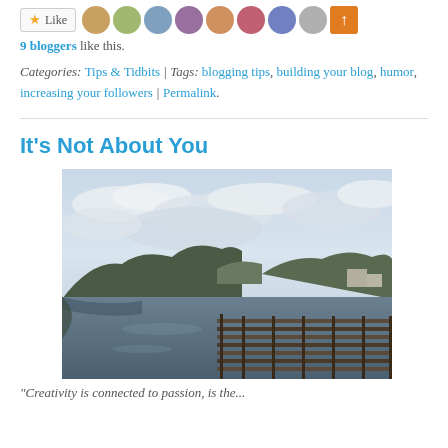[Figure (other): Like button with star icon followed by 9 blogger avatar thumbnails]
9 bloggers like this.
Categories: Tips & Tidbits | Tags: blogging tips, building your blog, humor, increasing your followers | Permalink.
It's Not About You
[Figure (photo): Photograph of a harbor or marina with calm water, a wooden dock/pier structure in the foreground, forested hills in the background, and an overcast cloudy sky.]
"Creativity is connected to passion, is the...